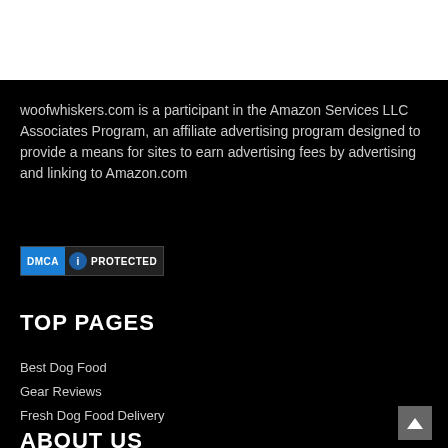woofwhiskers.com is a participant in the Amazon Services LLC Associates Program, an affiliate advertising program designed to provide a means for sites to earn advertising fees by advertising and linking to Amazon.com
[Figure (logo): DMCA Protected badge with blue and dark background]
TOP PAGES
Best Dog Food
Gear Reviews
Fresh Dog Food Delivery
ABOUT US